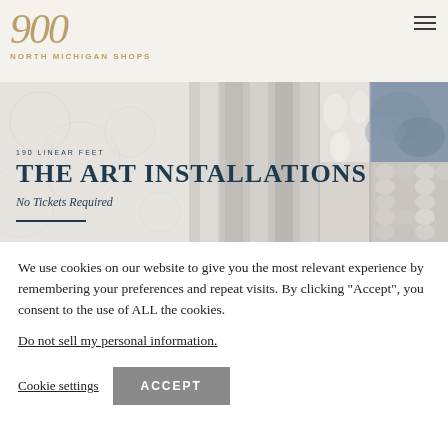900 NORTH MICHIGAN SHOPS
[Figure (photo): Hero banner with collage of white textured materials — lace, metallic columns, white flowers, blue and white stone/tile. Text overlay reads: 190 LINEAR FEET / THE ART INSTALLATIONS / No Tickets Required. Dark blue horizontal line beneath.]
We use cookies on our website to give you the most relevant experience by remembering your preferences and repeat visits. By clicking “Accept”, you consent to the use of ALL the cookies.
Do not sell my personal information.
Cookie settings   ACCEPT